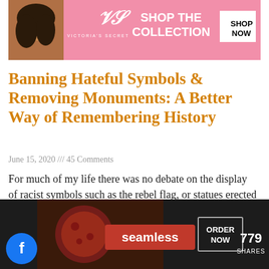[Figure (screenshot): Victoria's Secret advertisement banner with model, VS logo, 'SHOP THE COLLECTION' text, and 'SHOP NOW' button on pink background]
Banning Hateful Symbols & Removing Monuments: A Better Way of Remembering History
June 15, 2020 /// 45 Comments
For much of my life there was no debate on the display of racist symbols such as the rebel flag, or statues erected to memorialize
Read More »
[Figure (screenshot): Bottom advertisement area with Facebook button, Seamless food delivery ad with pizza image, ORDER NOW button, and 779 SHARES counter. Also includes a CLOSE button above the ad.]